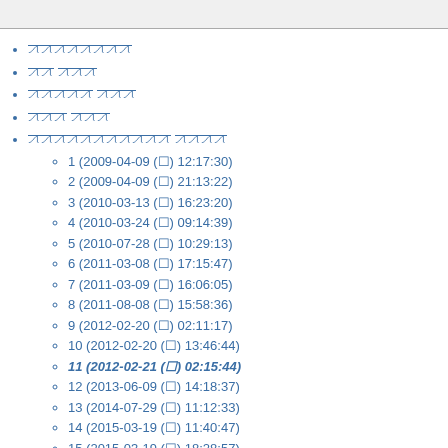ꠀꠀꠀꠀꠀꠀꠀꠀ
ꠀꠀ ꠀꠀꠀ
ꠀꠀꠀꠀꠀ ꠀꠀꠀ
ꠀꠀꠀ ꠀꠀꠀ
ꠀꠀꠀꠀꠀꠀꠀꠀꠀꠀꠀ ꠀꠀꠀꠀ
1 (2009-04-09 (□) 12:17:30)
2 (2009-04-09 (□) 21:13:22)
3 (2010-03-13 (□) 16:23:20)
4 (2010-03-24 (□) 09:14:39)
5 (2010-07-28 (□) 10:29:13)
6 (2011-03-08 (□) 17:15:47)
7 (2011-03-09 (□) 16:06:05)
8 (2011-08-08 (□) 15:58:36)
9 (2012-02-20 (□) 02:11:17)
10 (2012-02-20 (□) 13:46:44)
11 (2012-02-21 (□) 02:15:44)
12 (2013-06-09 (□) 14:18:37)
13 (2014-07-29 (□) 11:12:33)
14 (2015-03-19 (□) 11:40:47)
15 (2015-03-19 (□) 18:28:57)
16 (2015-03-19 (□) 21:41:37)
17 (2015-04-09 (□) 08:58:28)